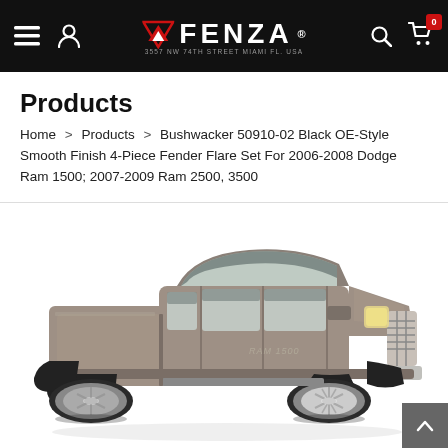FENZA — Navigation header with hamburger menu, user icon, logo, search icon, and cart (0 items)
Products
Home > Products > Bushwacker 50910-02 Black OE-Style Smooth Finish 4-Piece Fender Flare Set For 2006-2008 Dodge Ram 1500; 2007-2009 Ram 2500, 3500
[Figure (photo): Product photo of a silver/grey Dodge Ram 1500 pickup truck with fender flares installed, shown on a white background at a 3/4 front angle.]